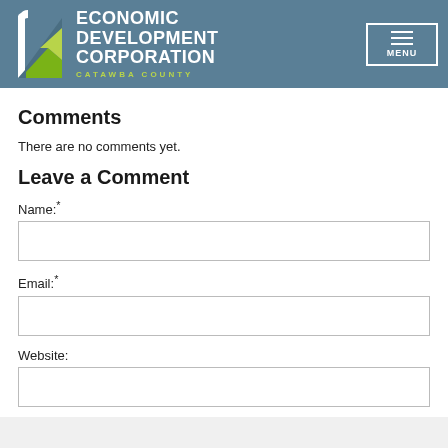[Figure (logo): Economic Development Corporation Catawba County logo with teal header background and hamburger menu button]
Comments
There are no comments yet.
Leave a Comment
Name:*
Email:*
Website: